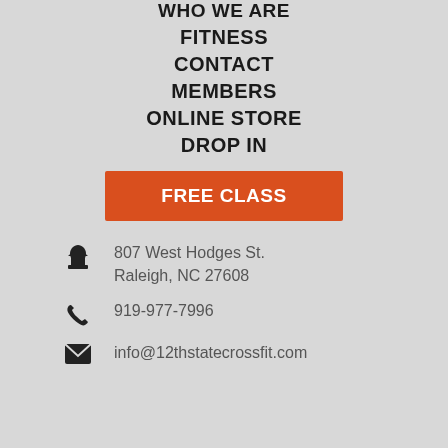WHO WE ARE
FITNESS
CONTACT
MEMBERS
ONLINE STORE
DROP IN
FREE CLASS
807 West Hodges St.
Raleigh, NC 27608
919-977-7996
info@12thstatecrossfit.com